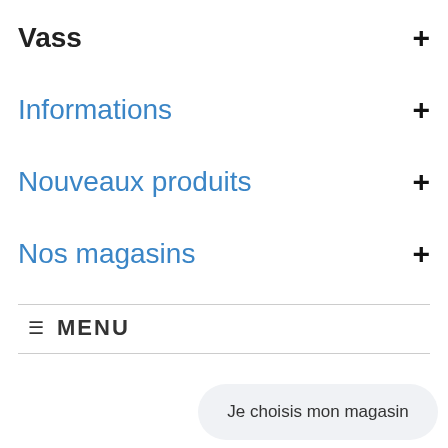Vass
Informations
Nouveaux produits
Nos magasins
≡ MENU
Je choisis mon magasin